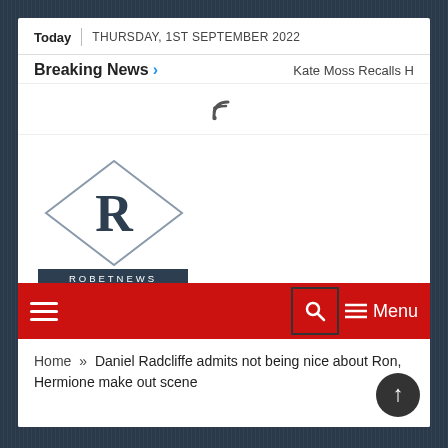Today | THURSDAY, 1ST SEPTEMBER 2022
Breaking News > Kate Moss Recalls H
[Figure (logo): RSS feed icon (wifi symbol)]
[Figure (logo): RobetNews diamond logo with large R and ROBETNEWS text below]
Menu (hamburger icon, search icon, menu icon)
Home » Daniel Radcliffe admits not being nice about Ron, Hermione make out scene